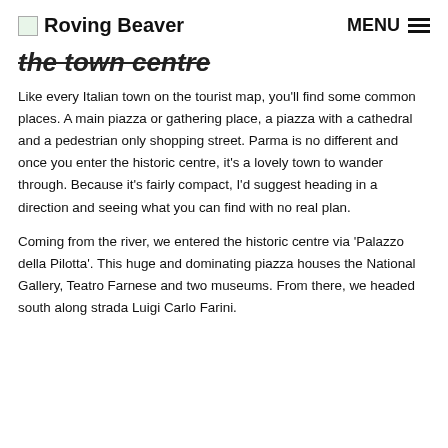Roving Beaver  MENU
the town centre
Like every Italian town on the tourist map, you'll find some common places. A main piazza or gathering place, a piazza with a cathedral and a pedestrian only shopping street. Parma is no different and once you enter the historic centre, it's a lovely town to wander through. Because it's fairly compact, I'd suggest heading in a direction and seeing what you can find with no real plan.
Coming from the river, we entered the historic centre via 'Palazzo della Pilotta'. This huge and dominating piazza houses the National Gallery, Teatro Farnese and two museums. From there, we headed south along strada Luigi Carlo Farini.